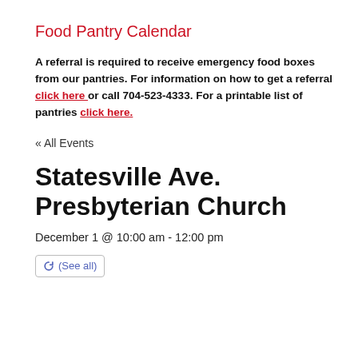Food Pantry Calendar
A referral is required to receive emergency food boxes from our pantries. For information on how to get a referral click here or call 704-523-4333. For a printable list of pantries click here.
« All Events
Statesville Ave. Presbyterian Church
December 1 @ 10:00 am - 12:00 pm
(See all)